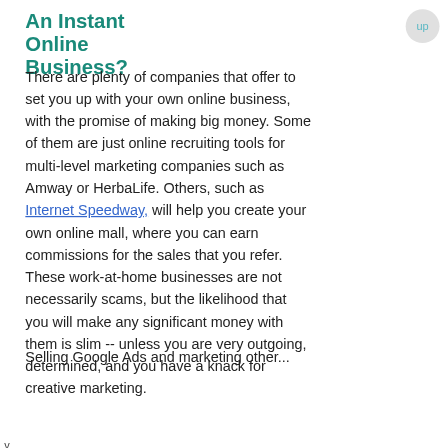An Instant Online Business?
There are plenty of companies that offer to set you up with your own online business, with the promise of making big money. Some of them are just online recruiting tools for multi-level marketing companies such as Amway or HerbaLife. Others, such as Internet Speedway, will help you create your own online mall, where you can earn commissions for the sales that you refer. These work-at-home businesses are not necessarily scams, but the likelihood that you will make any significant money with them is slim -- unless you are very outgoing, determined, and you have a knack for creative marketing.
Selling Google Ads and marketing other...